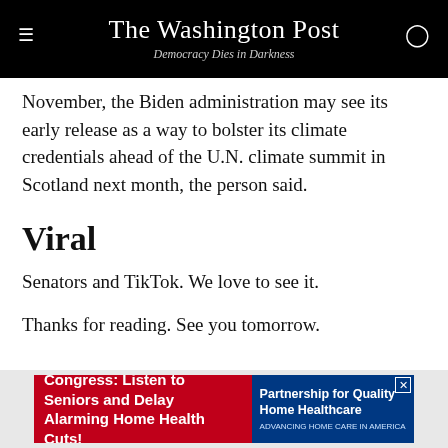The Washington Post — Democracy Dies in Darkness
November, the Biden administration may see its early release as a way to bolster its climate credentials ahead of the U.N. climate summit in Scotland next month, the person said.
Viral
Senators and TikTok. We love to see it.
Thanks for reading. See you tomorrow.
[Figure (infographic): Advertisement banner: Congress: Listen to Seniors and Delay Alarming Home Health Cuts! Partnership for Quality Home Healthcare]